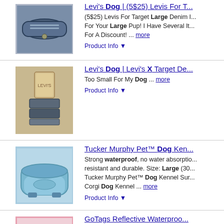Levi's Dog | (5$25) Levis For T... (5$25) Levis For Target Large Denim ... For Your Large Pup! I Have Several It... For A Discount! ... more Product Info
Levi's Dog | Levi's X Target De... Too Small For My Dog ... more Product Info
Tucker Murphy Pet™ Dog Ken... Strong waterproof, no water absorptio... resistant and durable. Size: Large (30... Tucker Murphy Pet™ Dog Kennel Sur... Corgi Dog Kennel ... more Product Info
GoTags Reflective Waterproo... An ideal collar for your active dog! Th... reflective, & odor resistant with non-c... makes them highly visible. Your canine... the ... more Product Info
GoTags Reflective Waterproo... An ideal collar for your active dog! T...